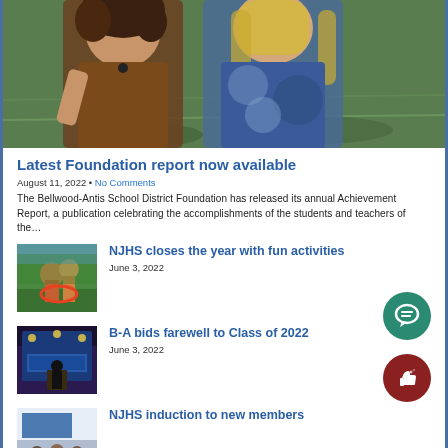[Figure (photo): Two young women standing outdoors on a grass field, one wearing a brown shirt and one wearing a blue tie-dye shirt]
Latest Foundation report now available
August 11, 2022 • No Comments
The Bellwood-Antis School District Foundation has released its annual Achievement Report, a publication celebrating the accomplishments of the students and teachers of the…
[Figure (photo): Children playing outdoors on a grass field]
NJHS closes the year with fun activities
June 3, 2022
[Figure (photo): Stage or auditorium scene with blue backdrop and signage]
B-A bids farewell to Class of 2022
June 3, 2022
[Figure (photo): Indoor ceremony or gathering scene]
NJHS induction to new members